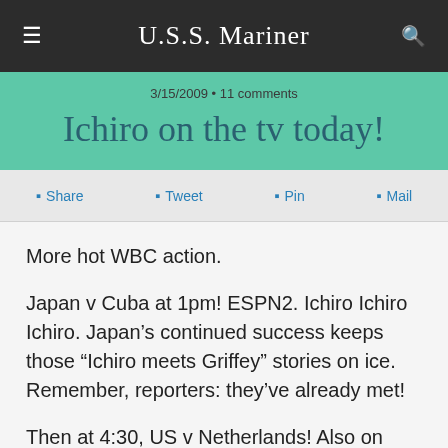U.S.S. Mariner
3/15/2009 • 11 comments
Ichiro on the tv today!
Share  Tweet  Pin  Mail
More hot WBC action.
Japan v Cuba at 1pm! ESPN2. Ichiro Ichiro Ichiro. Japan's continued success keeps those "Ichiro meets Griffey" stories on ice. Remember, reporters: they've already met!
Then at 4:30, US v Netherlands! Also on ESPN2! And Mexico v Korea at 8!